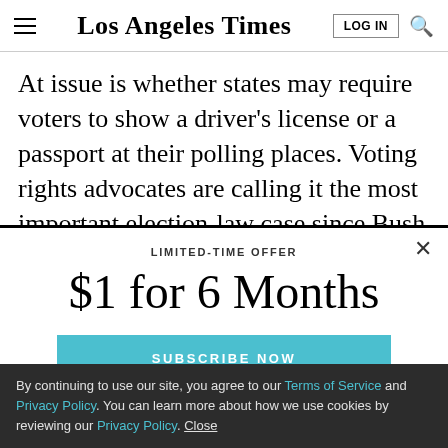Los Angeles Times
At issue is whether states may require voters to show a driver's license or a passport at their polling places. Voting rights advocates are calling it the most important election-law case since Bush vs. Gore in 2000, and the partisan divide is nearly as sharp.
LIMITED-TIME OFFER
$1 for 6 Months
SUBSCRIBE NOW
By continuing to use our site, you agree to our Terms of Service and Privacy Policy. You can learn more about how we use cookies by reviewing our Privacy Policy. Close